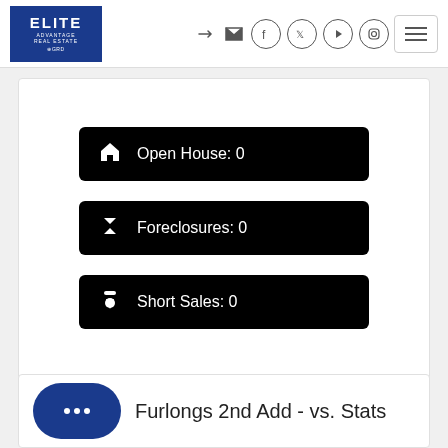[Figure (logo): Elite Advantage Real Estate logo - blue square with white text]
Open House: 0
Foreclosures: 0
Short Sales: 0
Furlongs 2nd Add - vs. Stats